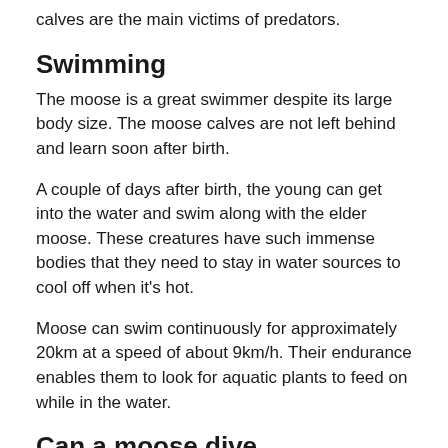calves are the main victims of predators.
Swimming
The moose is a great swimmer despite its large body size. The moose calves are not left behind and learn soon after birth.
A couple of days after birth, the young can get into the water and swim along with the elder moose. These creatures have such immense bodies that they need to stay in water sources to cool off when it's hot.
Moose can swim continuously for approximately 20km at a speed of about 9km/h. Their endurance enables them to look for aquatic plants to feed on while in the water.
Can a moose dive underwater?
Aside from being skillful swimmers, moose can dive